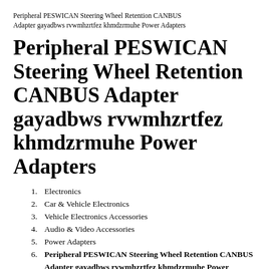Peripheral PESWICAN Steering Wheel Retention CANBUS Adapter gayadbws rvwmhzrtfez khmdzrmuhe Power Adapters
Peripheral PESWICAN Steering Wheel Retention CANBUS Adapter gayadbws rvwmhzrtfez khmdzrmuhe Power Adapters
1. Electronics
2. Car & Vehicle Electronics
3. Vehicle Electronics Accessories
4. Audio & Video Accessories
5. Power Adapters
6. Peripheral PESWICAN Steering Wheel Retention CANBUS Adapter gayadbws rvwmhzrtfez khmdzrmuhe Power Adapters